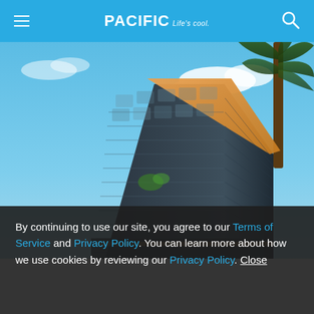PACIFIC Life's cool.
[Figure (photo): Upward-looking architectural rendering of a modern angular skyscraper with a dark textured facade of glass and metal panels. The building has a dramatic triangular roofline with warm glowing edge lighting. A palm tree is visible at the upper right. The sky is bright blue with scattered clouds.]
By continuing to use our site, you agree to our Terms of Service and Privacy Policy. You can learn more about how we use cookies by reviewing our Privacy Policy. Close